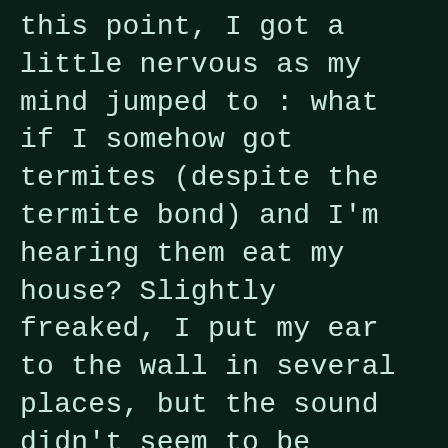this point, I got a little nervous as my mind jumped to : what if I somehow got termites (despite the termite bond) and I'm hearing them eat my house? Slightly freaked, I put my ear to the wall in several places, but the sound didn't seem to be coming from there. After walking around a little more I stopped in the living room and tried a little experiment and tightly covered both my ears with my palms. Sure enough, I could still hear the sound. In fact, it was a little louder. So, the sound is, quite literally, all in my head. With most peoples ears, if you get into a virtually silent